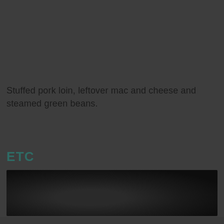Stuffed pork loin, leftover mac and cheese and steamed green beans.
ETC
[Figure (photo): Dark photograph of food, very low lighting, mostly dark tones with some brown/dark shapes visible]